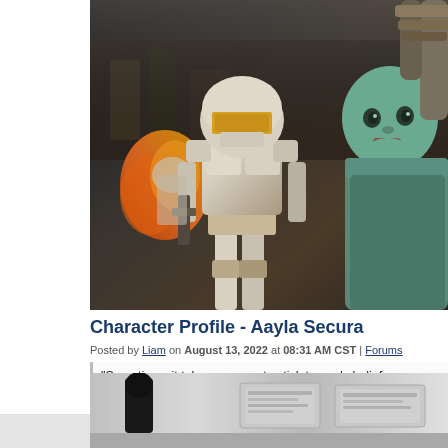[Figure (photo): Star Wars scene showing a Clone Trooper in white and gold armor in the foreground, and a green-skinned alien female character (Aayla Secura) on the right side. Dark, dramatic lighting with a battle scene background.]
Character Profile - Aayla Secura
Posted by Liam on August 13, 2022 at 08:31 AM CST | Forums
"Sometimes it takes courage to stick to one's beliefs, young Padawan." G... Secura's wisdom in our Character Profile.
FULL REPORT
[Figure (photo): Partial view of a second article image showing a dark-suited figure on the left and rectangular panel displays on the right, in a bright/grey interior setting.]